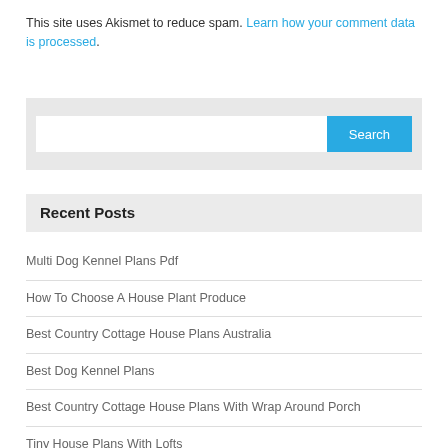This site uses Akismet to reduce spam. Learn how your comment data is processed.
[Figure (screenshot): Search box with white input field and blue Search button on grey background]
Recent Posts
Multi Dog Kennel Plans Pdf
How To Choose A House Plant Produce
Best Country Cottage House Plans Australia
Best Dog Kennel Plans
Best Country Cottage House Plans With Wrap Around Porch
Tiny House Plans With Lofts
How To Choose A House Plant Power